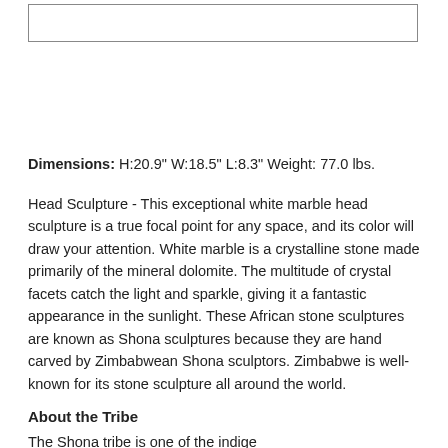[Figure (other): Empty image placeholder box]
Dimensions: H:20.9" W:18.5" L:8.3" Weight: 77.0 lbs.
Head Sculpture - This exceptional white marble head sculpture is a true focal point for any space, and its color will draw your attention. White marble is a crystalline stone made primarily of the mineral dolomite. The multitude of crystal facets catch the light and sparkle, giving it a fantastic appearance in the sunlight. These African stone sculptures are known as Shona sculptures because they are hand carved by Zimbabwean Shona sculptors. Zimbabwe is well-known for its stone sculpture all around the world.
About the Tribe
The Shona tribe is one of the indigenous groups of Africa...